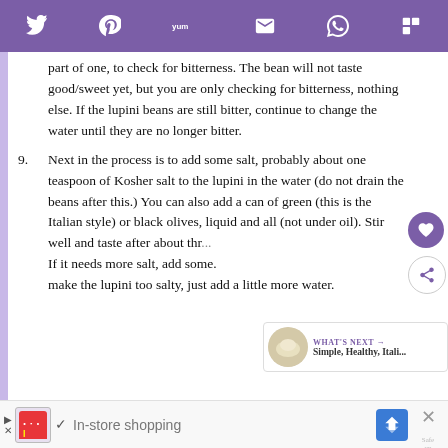[Social share toolbar: Twitter, Pinterest, Yummly, Email, WhatsApp, Flipboard]
part of one, to check for bitterness. The bean will not taste good/sweet yet, but you are only checking for bitterness, nothing else. If the lupini beans are still bitter, continue to change the water until they are no longer bitter.
9. Next in the process is to add some salt, probably about one teaspoon of Kosher salt to the lupini in the water (do not drain the beans after this.) You can also add a can of green (this is the Italian style) or black olives, liquid and all (not under oil). Stir well and taste after about thr... If it needs more salt, add some. ...make the lupini too salty, just add a little more water.
[Figure (photo): Small circular thumbnail of food/dish, part of 'WHAT'S NEXT' promotional widget showing 'Simple, Healthy, Itali...']
In-store shopping [advertisement bar with Lidl logo, navigation icon, close button, SafeUp branding]